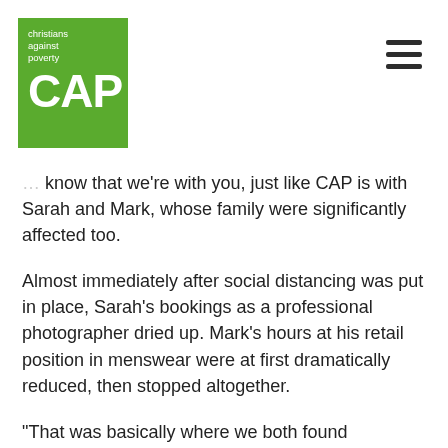Christians Against Poverty CAP
know that we're with you, just like CAP is with Sarah and Mark, whose family were significantly affected too.
Almost immediately after social distancing was put in place, Sarah's bookings as a professional photographer dried up. Mark's hours at his retail position in menswear were at first dramatically reduced, then stopped altogether.
“That was basically where we both found ourselves unemployed. And in the meantime, I was trying to sell prints and upfront sessions… to keep us affording the basics like food and fuel.”